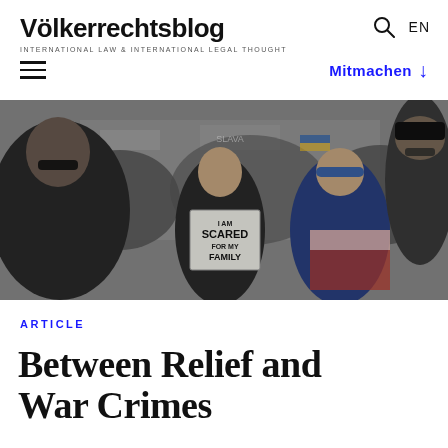Völkerrechtsblog — INTERNATIONAL LAW & INTERNATIONAL LEGAL THOUGHT
[Figure (photo): Protest crowd scene; a woman holds a sign reading 'I AM SCARED FOR MY FAMILY'; people wrapped in flags visible in background.]
ARTICLE
Between Relief and War Crimes